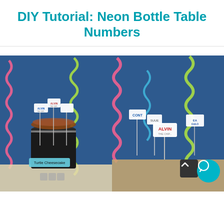DIY Tutorial: Neon Bottle Table Numbers
[Figure (photo): Left photo showing a dessert display with a Turtle Cheesecake on a black cylindrical stand, small label signs on sticks with Alvin branding, and colorful neon coil/spring decorations on a blue background wall]
[Figure (photo): Right photo showing multiple small sign stakes with labels including Alvin and other text, with colorful neon coil/spring decorations on a blue background wall, and UI overlay buttons (chevron up, chat bubble)]